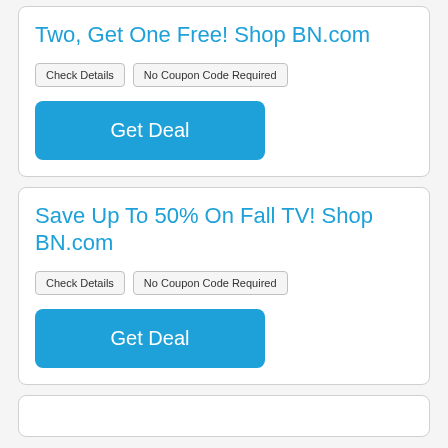Two, Get One Free! Shop BN.com
Check Details | No Coupon Code Required
Get Deal
Save Up To 50% On Fall TV! Shop BN.com
Check Details | No Coupon Code Required
Get Deal
...